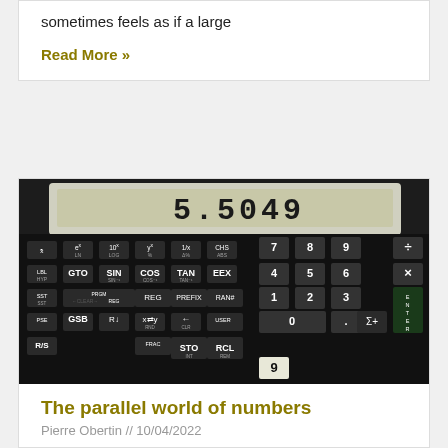sometimes feels as if a large
Read More »
[Figure (photo): Close-up photograph of a scientific/financial calculator keyboard (HP-15C or similar), showing function keys including SIN, COS, TAN, GTO, GSB, STO, RCL, ENTER, EEX and others, with a display showing 5.5049]
The parallel world of numbers
Pierre Obertin // 10/04/2022
The way the contact tracing was carried out during the pandemic was a rather significant